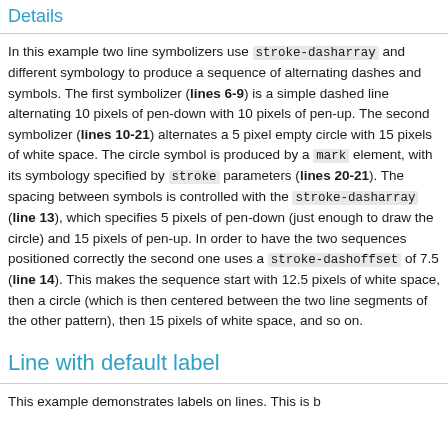Details
In this example two line symbolizers use stroke-dasharray and different symbology to produce a sequence of alternating dashes and symbols. The first symbolizer (lines 6-9) is a simple dashed line alternating 10 pixels of pen-down with 10 pixels of pen-up. The second symbolizer (lines 10-21) alternates a 5 pixel empty circle with 15 pixels of white space. The circle symbol is produced by a mark element, with its symbology specified by stroke parameters (lines 20-21). The spacing between symbols is controlled with the stroke-dasharray (line 13), which specifies 5 pixels of pen-down (just enough to draw the circle) and 15 pixels of pen-up. In order to have the two sequences positioned correctly the second one uses a stroke-dashoffset of 7.5 (line 14). This makes the sequence start with 12.5 pixels of white space, then a circle (which is then centered between the two line segments of the other pattern), then 15 pixels of white space, and so on.
Line with default label
This example demonstrates labels on lines. This is b...